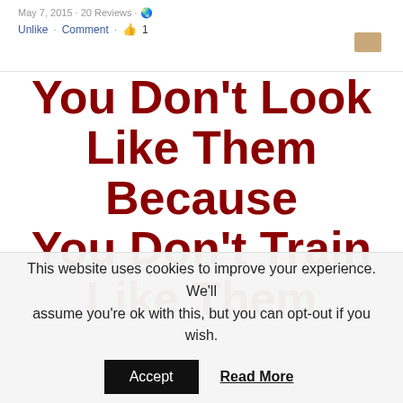May 7, 2015 · 20 Reviews · Unlike · Comment · 👍 1
[Figure (illustration): Large bold dark red text on white background reading: You Don't Look Like Them Because You Don't Train Like Them (partially cropped)]
This website uses cookies to improve your experience. We'll assume you're ok with this, but you can opt-out if you wish.
Accept   Read More